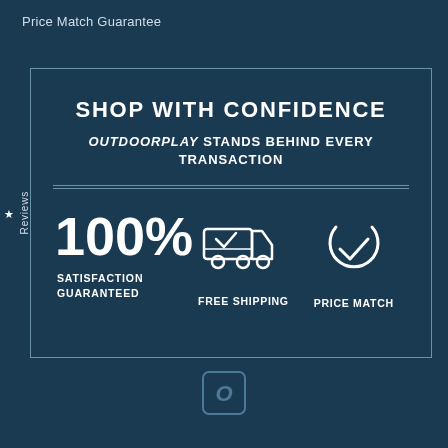Price Match Guarantee
[Figure (infographic): Shop with confidence infographic on dark blue background. Contains a bordered box with title 'SHOP WITH CONFIDENCE', subtitle 'OUTDOORPLAY STANDS BEHIND EVERY TRANSACTION', a horizontal divider, and three icons/features: 100% SATISFACTION GUARANTEED, FREE SHIPPING (truck icon with checkmark), and PRICE MATCH (circle checkmark icon). A vertical 'Reviews' tab appears on the left side. An Outdoorplay logo appears at the bottom center outside the box.]